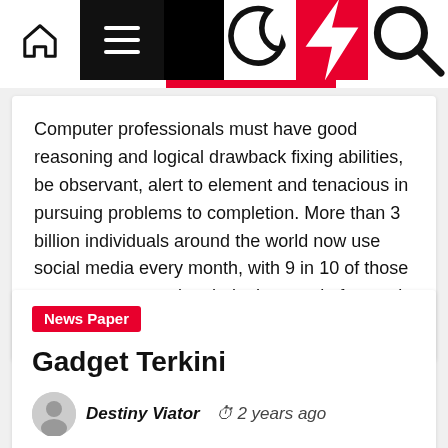Navigation bar with home, menu, moon, bolt, and search icons
Computer professionals must have good reasoning and logical drawback fixing abilities, be observant, alert to element and tenacious in pursuing problems to completion. More than 3 billion individuals around the world now use social media every month, with 9 in 10 of those customers accessing their chosen platforms via mobile [...]
News Paper
Gadget Terkini
Destiny Viator  2 years ago
Computer professionals should have good